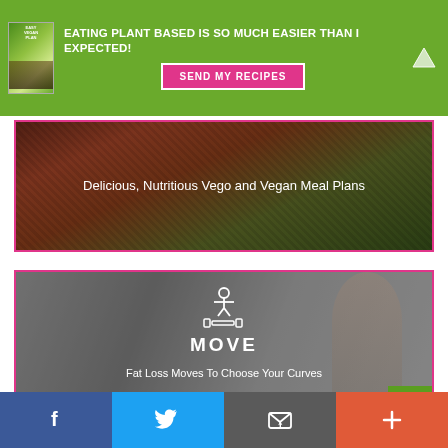[Figure (infographic): Green banner with book cover image on left, bold white text headline, pink 'SEND MY RECIPES' button, and white up-arrow on right]
EATING PLANT BASED IS SO MUCH EASIER THAN I EXPECTED!
[Figure (photo): Photo of colorful vegan/vegetarian food with pink border and dark overlay, text overlay reading 'Delicious, Nutritious Vego and Vegan Meal Plans']
Delicious, Nutritious Vego and Vegan Meal Plans
[Figure (photo): Photo of a woman with fitness/move icon and dumbbell graphic, pink border, dark overlay, text 'MOVE' and 'Fat Loss Moves To Choose Your Curves']
Fat Loss Moves To Choose Your Curves
[Figure (infographic): Social sharing footer bar with Facebook (blue), Twitter (light blue), Email (gray), and Plus/More (orange-red) buttons]